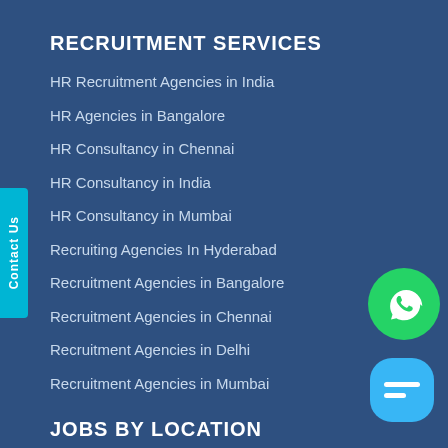RECRUITMENT SERVICES
HR Recruitment Agencies in India
HR Agencies in Bangalore
HR Consultancy in Chennai
HR Consultancy in India
HR Consultancy in Mumbai
Recruiting Agencies In Hyderabad
Recruitment Agencies in Bangalore
Recruitment Agencies in Chennai
Recruitment Agencies in Delhi
Recruitment Agencies in Mumbai
JOBS BY LOCATION
[Figure (logo): WhatsApp icon - green circle with phone handset]
[Figure (logo): Chat bubble icon - blue rounded square with chat symbol]